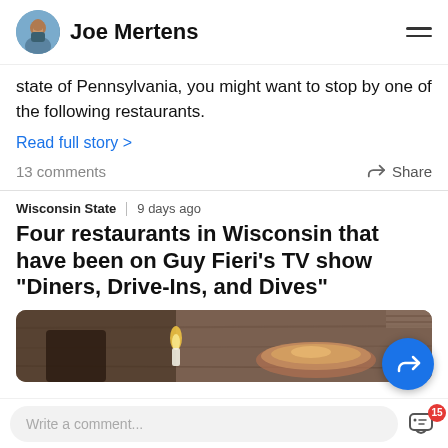Joe Mertens
state of Pennsylvania, you might want to stop by one of the following restaurants.
Read full story >
13 comments    Share
Wisconsin State  |  9 days ago
Four restaurants in Wisconsin that have been on Guy Fieri's TV show "Diners, Drive-Ins, and Dives"
[Figure (photo): Food/restaurant photo, dimly lit scene with dish and candle]
Write a comment...